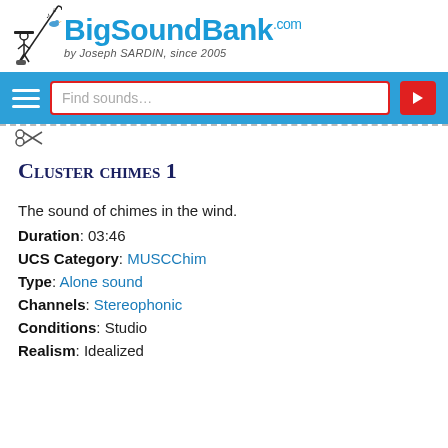[Figure (logo): BigSoundBank.com logo with illustrated figure hanging from a fishing rod with musical notes and a bird, subtitle: by Joseph SARDIN, since 2005]
[Figure (screenshot): Navigation bar with hamburger menu, search box labeled 'Find sounds...' with red border, and red search button with triangle icon]
Cluster chimes 1
The sound of chimes in the wind.
Duration: 03:46
UCS Category: MUSCChim
Type: Alone sound
Channels: Stereophonic
Conditions: Studio
Realism: Idealized